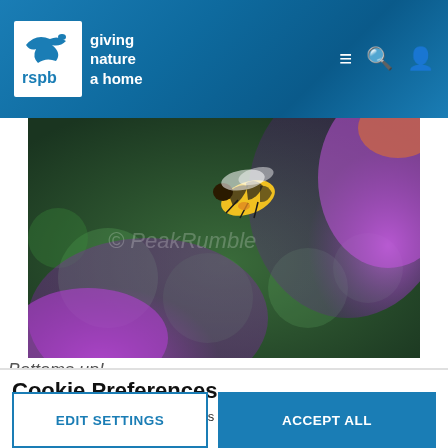[Figure (logo): RSPB logo: white box with bird silhouette and 'rspb' text, with tagline 'giving nature a home' in white text on blue header background]
[Figure (photo): Close-up photograph of a honey bee hovering near purple and pink flowers, with bokeh green background. Watermark text '© PeakRumble' visible.]
Bottoms up!
Cookie Preferences
Accepting all non-essential cookies helps us to personalise your experience
EDIT SETTINGS
ACCEPT ALL